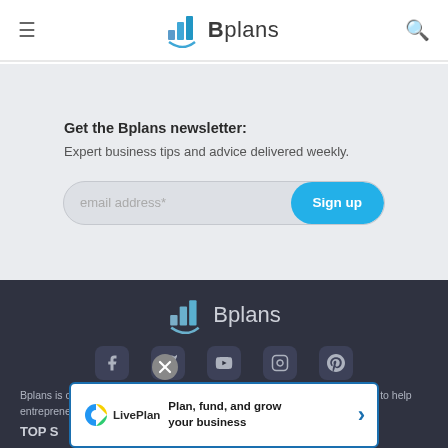Bplans
Get the Bplans newsletter:
Expert business tips and advice delivered weekly.
email address*  [Sign up]
[Figure (logo): Bplans logo (bar chart icon + Bplans text) in white/grey on dark background]
[Figure (infographic): Social media icons: Facebook, Twitter, YouTube, Instagram, Pinterest]
Bplans is owned and operated by Palo Alto Software, Inc., as a free resource to help entrepreneurs start and run better businesses.
TOP S
Plan, fund, and grow your business